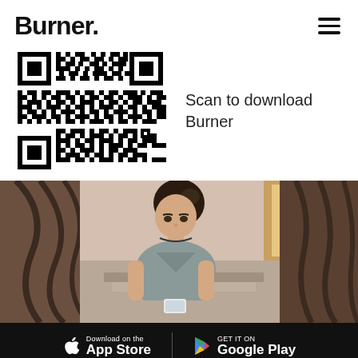Burner.
Scan to download Burner
[Figure (other): QR code to download Burner app]
[Figure (photo): Young woman looking down at a smartphone, seated near ornate metal railings in an interior setting]
[Figure (other): App store download bar with Apple App Store and Google Play buttons on black background]